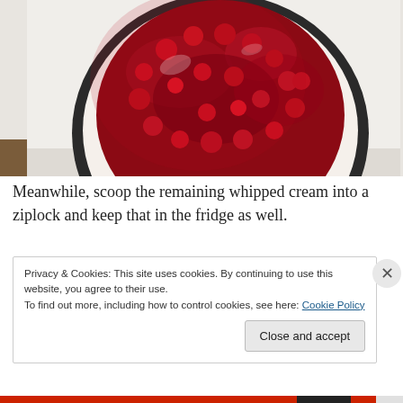[Figure (photo): Top-down view of a cherry cheesecake in a dark springform pan sitting on a white surface. The cheesecake has a white cream filling with a thick glossy red cherry topping. The pan is resting on what appears to a white stove or countertop.]
Meanwhile, scoop the remaining whipped cream into a ziplock and keep that in the fridge as well.
Privacy & Cookies: This site uses cookies. By continuing to use this website, you agree to their use.
To find out more, including how to control cookies, see here: Cookie Policy
Close and accept